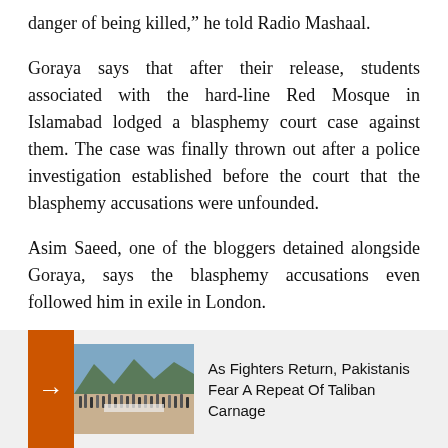danger of being killed,” he told Radio Mashaal.
Goraya says that after their release, students associated with the hard-line Red Mosque in Islamabad lodged a blasphemy court case against them. The case was finally thrown out after a police investigation established before the court that the blasphemy accusations were unfounded.
Asim Saeed, one of the bloggers detained alongside Goraya, says the blasphemy accusations even followed him in exile in London.
[Figure (photo): Related article box with orange arrow button and crowd photo. Headline: As Fighters Return, Pakistanis Fear A Repeat Of Taliban Carnage]